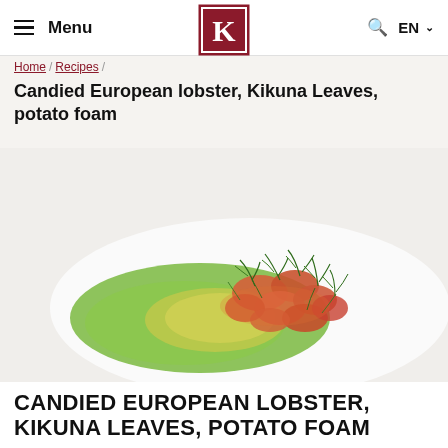Menu | K logo | Q EN
Home / Recipes /
Candied European lobster, Kikuna Leaves, potato foam
[Figure (photo): A plated dish of candied European lobster pieces topped with fresh green herb fronds (kikuna leaves) arranged on a bright green herb sauce and yellow potato foam on a white plate.]
CANDIED EUROPEAN LOBSTER, KIKUNA LEAVES, POTATO FOAM